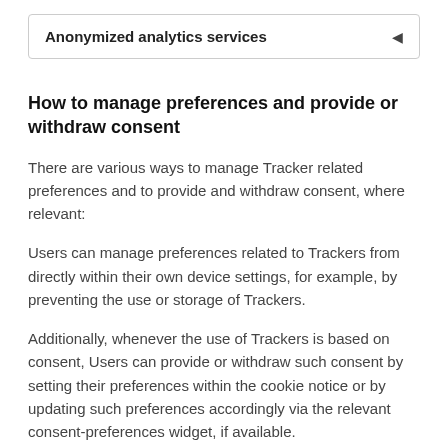Anonymized analytics services
How to manage preferences and provide or withdraw consent
There are various ways to manage Tracker related preferences and to provide and withdraw consent, where relevant:
Users can manage preferences related to Trackers from directly within their own device settings, for example, by preventing the use or storage of Trackers.
Additionally, whenever the use of Trackers is based on consent, Users can provide or withdraw such consent by setting their preferences within the cookie notice or by updating such preferences accordingly via the relevant consent-preferences widget, if available.
It is also possible, via relevant browser or device features, to delete previously stored Trackers, including those used to